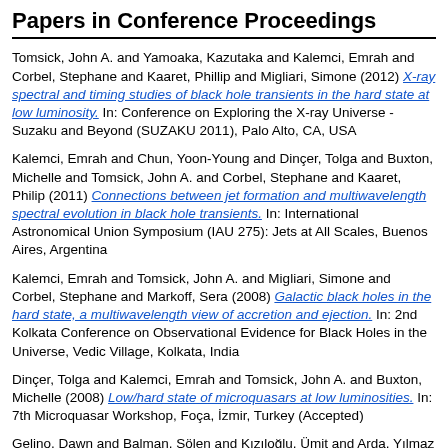Papers in Conference Proceedings
Tomsick, John A. and Yamoaka, Kazutaka and Kalemci, Emrah and Corbel, Stephane and Kaaret, Phillip and Migliari, Simone (2012) X-ray spectral and timing studies of black hole transients in the hard state at low luminosity. In: Conference on Exploring the X-ray Universe - Suzaku and Beyond (SUZAKU 2011), Palo Alto, CA, USA
Kalemci, Emrah and Chun, Yoon-Young and Dinçer, Tolga and Buxton, Michelle and Tomsick, John A. and Corbel, Stephane and Kaaret, Philip (2011) Connections between jet formation and multiwavelength spectral evolution in black hole transients. In: International Astronomical Union Symposium (IAU 275): Jets at All Scales, Buenos Aires, Argentina
Kalemci, Emrah and Tomsick, John A. and Migliari, Simone and Corbel, Stephane and Markoff, Sera (2008) Galactic black holes in the hard state, a multiwavelength view of accretion and ejection. In: 2nd Kolkata Conference on Observational Evidence for Black Holes in the Universe, Vedic Village, Kolkata, India
Dinçer, Tolga and Kalemci, Emrah and Tomsick, John A. and Buxton, Michelle (2008) Low/hard state of microquasars at low luminosities. In: 7th Microquasar Workshop, Foça, İzmir, Turkey (Accepted)
Gelino, Dawn and Balman, Şölen and Kızıloğlu, Ümit and Arda, Yılmaz and Kalemci, Emrah and Tomsick, John A. (2008) The inclination angle and mass of the black hole in XTE J1118+480. In: A population explosion: the nature & evolution of x-ray binaries in diverse environments, St. Pete Beach, Florida
Tomsick, John A. and Migliari, Simone and Markoff, Sera and Kalemci,